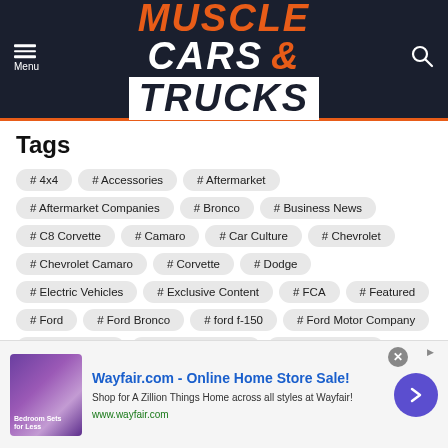[Figure (logo): Muscle Cars & Trucks website logo with hamburger menu and search icon on dark navy background]
Tags
# 4x4
# Accessories
# Aftermarket
# Aftermarket Companies
# Bronco
# Business News
# C8 Corvette
# Camaro
# Car Culture
# Chevrolet
# Chevrolet Camaro
# Corvette
# Dodge
# Electric Vehicles
# Exclusive Content
# FCA
# Featured
# Ford
# Ford Bronco
# ford f-150
# Ford Motor Company
# Ford Mustang
# Ford Performance
# General Motors
# GM
# GMC
# Industry News
# Jeep
# Mopar
[Figure (screenshot): Wayfair advertisement banner: Wayfair.com - Online Home Store Sale! Shop for A Zillion Things Home across all styles at Wayfair! www.wayfair.com]